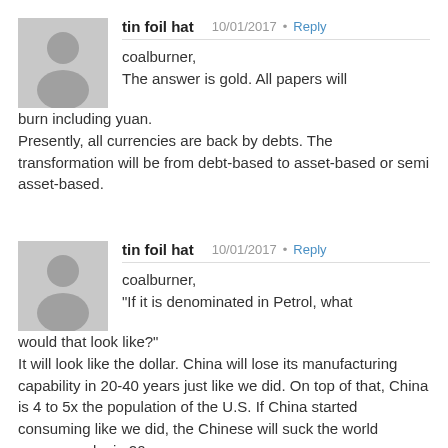[Figure (illustration): Gray placeholder avatar icon (silhouette of a person) for first comment]
tin foil hat
10/01/2017 · Reply
coalburner,
The answer is gold. All papers will burn including yuan.
Presently, all currencies are back by debts. The transformation will be from debt-based to asset-based or semi asset-based.
[Figure (illustration): Gray placeholder avatar icon (silhouette of a person) for second comment]
tin foil hat
10/01/2017 · Reply
coalburner,
"If it is denominated in Petrol, what would that look like?"
It will look like the dollar. China will lose its manufacturing capability in 20-40 years just like we did. On top of that, China is 4 to 5x the population of the U.S. If China started consuming like we did, the Chinese will suck the world resources dry in 20 years.